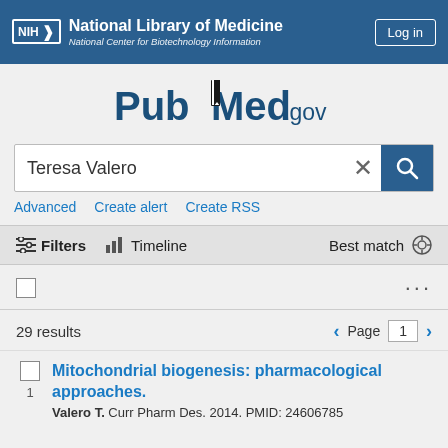[Figure (screenshot): NIH National Library of Medicine header with National Center for Biotechnology Information subtitle and Log in button]
[Figure (logo): PubMed.gov logo]
Teresa Valero
Advanced   Create alert   Create RSS
Filters   Timeline   Best match
29 results   Page 1
Mitochondrial biogenesis: pharmacological approaches.
Valero T. Curr Pharm Des. 2014. PMID: 24606785